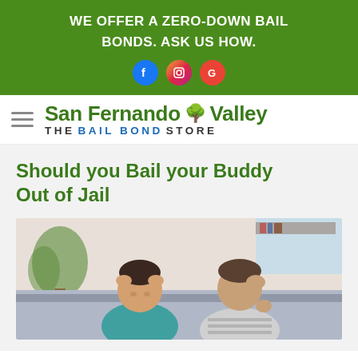WE OFFER A ZERO-DOWN BAIL BONDS. ASK US HOW.
[Figure (logo): San Fernando Valley The Bail Bond Store logo with tree icon]
Should you Bail your Buddy Out of Jail
[Figure (photo): Two young men sitting together looking stressed, one in teal shirt and one in striped shirt, both with hands near their heads]